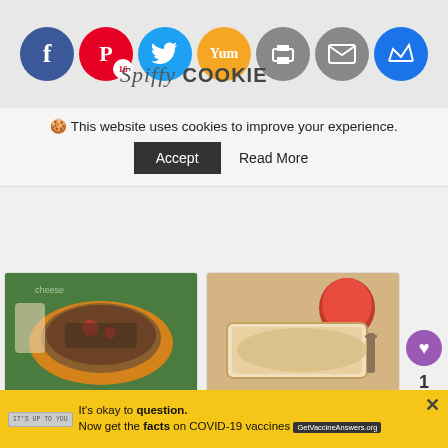Social media share buttons: Facebook, Pinterest (16), Twitter, Yummly, Print, Email, Crown
This website uses cookies to improve your experience.
Accept | Read More
[Figure (photo): Food photo: Chorizo Ragu Stuffed Spaghetti Squash half filled with meat and vegetables on green leaf background]
11. Chorizo Ragu Stuffed Spaghetti Squash
[Figure (photo): Food photo: Apple-Vanilla Coffee Cake slice on a plate with an apple in background]
12. Apple-Vanilla Coffee Cake
[Figure (photo): Food photo: Small egg frittatas or quiches in a muffin tin]
[Figure (photo): Food photo: Crumbled ground meat or sausage in a pan]
WHAT'S NEXT → Spaghetti Squash...
It's okay to question. Now get the facts on COVID-19 vaccines GetVaccineAnswers.org